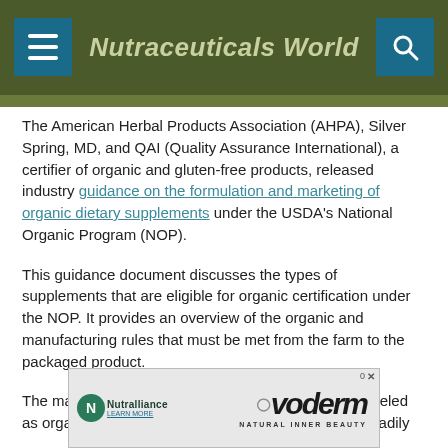Nutraceuticals World
The American Herbal Products Association (AHPA), Silver Spring, MD, and QAI (Quality Assurance International), a certifier of organic and gluten-free products, released industry guidance on the formulation and marketing of organic dietary supplements under the USDA's National Organic Program (NOP).
This guidance document discusses the types of supplements that are eligible for organic certification under the NOP. It provides an overview of the organic and manufacturing rules that must be met from the farm to the packaged product.
The market for products cultivated, processed and labeled as organic in accordance with the NOP has grown steadily
[Figure (screenshot): Advertisement banner for Nutralliance featuring ovoderm Natural Inner Beauty product]